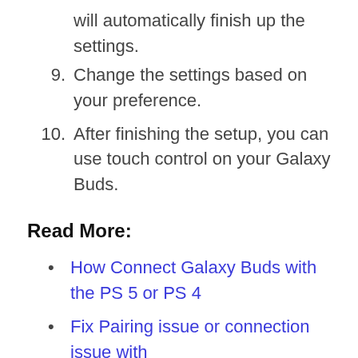will automatically finish up the settings.
9. Change the settings based on your preference.
10. After finishing the setup, you can use touch control on your Galaxy Buds.
Read More:
How Connect Galaxy Buds with the PS 5 or PS 4
Fix Pairing issue or connection issue with